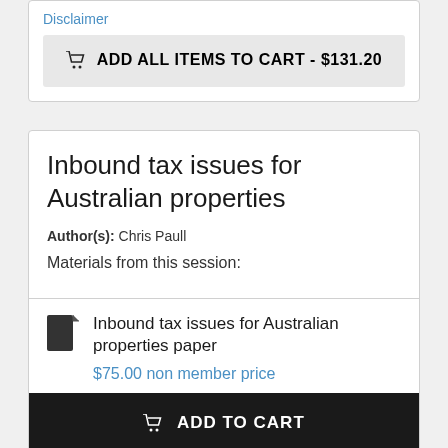Disclaimer
🛒 ADD ALL ITEMS TO CART - $131.20
Inbound tax issues for Australian properties
Author(s): Chris Paull
Materials from this session:
Inbound tax issues for Australian properties paper
$75.00 non member price
🛒 ADD TO CART